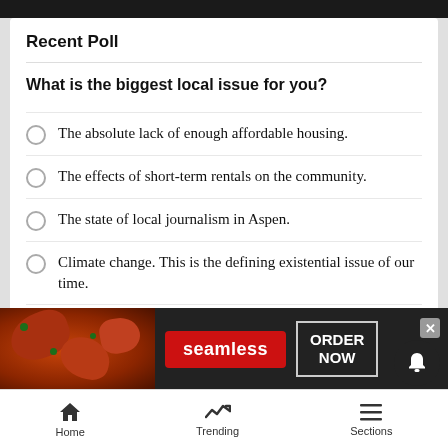Recent Poll
What is the biggest local issue for you?
The absolute lack of enough affordable housing.
The effects of short-term rentals on the community.
The state of local journalism in Aspen.
Climate change. This is the defining existential issue of our time.
T…
[Figure (infographic): Seamless food delivery advertisement with pizza image, red Seamless logo button, and ORDER NOW button]
Home   Trending   Sections